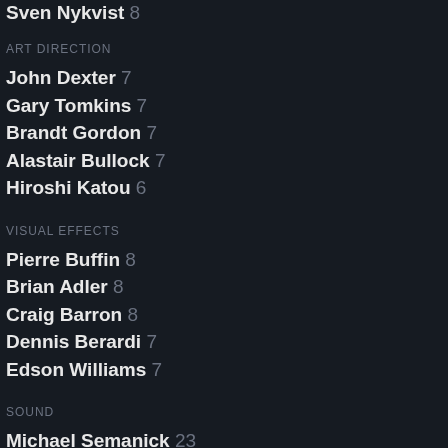Sven Nykvist 8
ART DIRECTION
John Dexter 7
Gary Tomkins 7
Brandt Gordon 7
Alastair Bullock 7
Hiroshi Katou 6
VISUAL EFFECTS
Pierre Buffin 8
Brian Adler 8
Craig Barron 8
Dennis Berardi 7
Edson Williams 7
SOUND
Michael Semanick 23